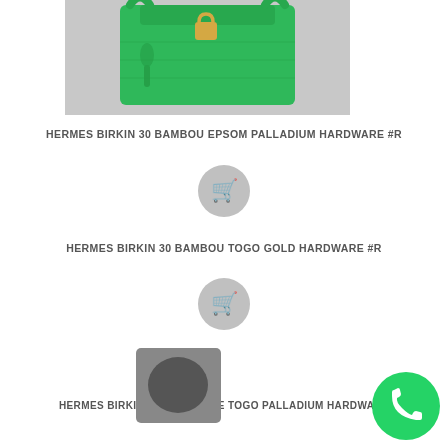[Figure (photo): Green Hermes Birkin 30 handbag in Bambou Epsom leather with palladium hardware, photographed against a light background]
HERMES BIRKIN 30 BAMBOU EPSOM PALLADIUM HARDWARE #R
[Figure (other): Shopping cart button icon in a grey circle]
HERMES BIRKIN 30 BAMBOU TOGO GOLD HARDWARE #R
[Figure (other): Shopping cart button icon in a grey circle]
HERMES BIRKIN 30 MALACHITE TOGO PALLADIUM HARDWARE
[Figure (other): WhatsApp contact button - green circle with white phone icon]